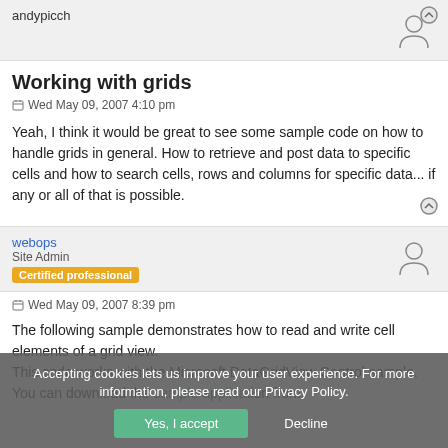andypicch
Working with grids
Wed May 09, 2007 4:10 pm
Yeah, I think it would be great to see some sample code on how to handle grids in general. How to retrieve and post data to specific cells and how to search cells, rows and columns for specific data... if any or all of that is possible.
webops
Site Admin
Certified professional
Wed May 09, 2007 8:39 pm
The following sample demonstrates how to read and write cell elements of a grid view.
This code works with the Microsoft DataGridView Control sample. You can download the sample application from:
Accepting cookies lets us improve your user experience. For more information, please read our Privacy Policy.
Yes, I accept
Decline